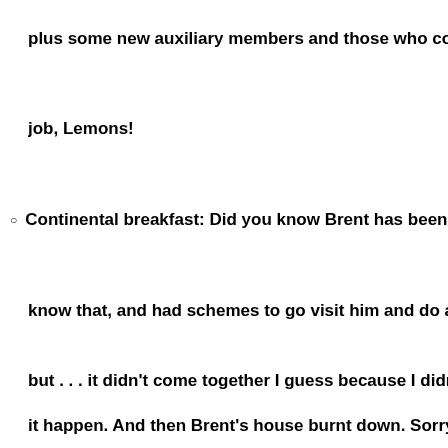plus some new auxiliary members and those who could hear
job, Lemons!
Continental breakfast: Did you know Brent has been living in
know that, and had schemes to go visit him and do a Slushy
but . . . it didn't come together I guess because I didn't try ha
it happen. And then Brent's house burnt down. Sorry Brent! S